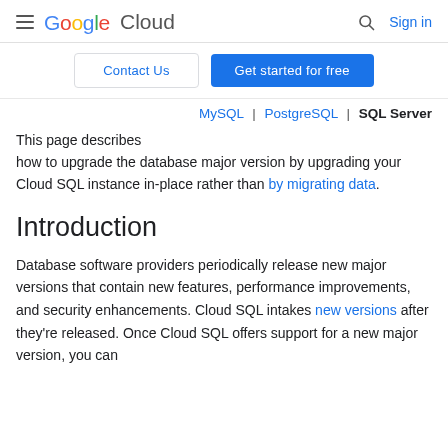Google Cloud — Sign in
Contact Us | Get started for free
MySQL | PostgreSQL | SQL Server
This page describes how to upgrade the database major version by upgrading your Cloud SQL instance in-place rather than by migrating data.
Introduction
Database software providers periodically release new major versions that contain new features, performance improvements, and security enhancements. Cloud SQL intakes new versions after they're released. Once Cloud SQL offers support for a new major version, you can